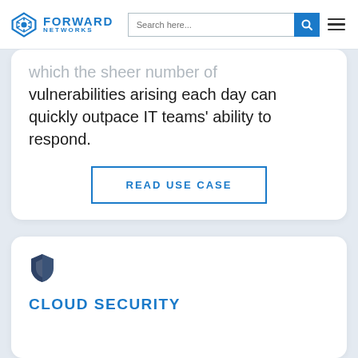Forward Networks — Search here...
which the sheer number of vulnerabilities arising each day can quickly outpace IT teams' ability to respond.
READ USE CASE
CLOUD SECURITY